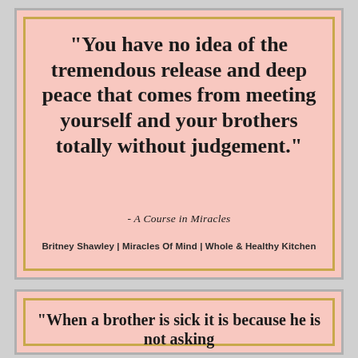[Figure (illustration): Pink card with gold border containing a quote: "You have no idea of the tremendous release and deep peace that comes from meeting yourself and your brothers totally without judgement." attributed to A Course in Miracles, with branding Britney Shawley | Miracles Of Mind | Whole & Healthy Kitchen]
[Figure (illustration): Pink card with gold border containing partial quote text: "When a brother is sick it is because he is not asking"]